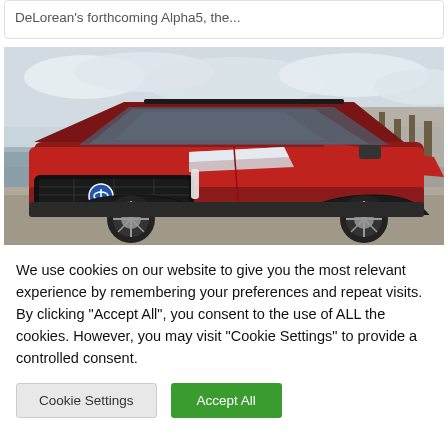DeLorean's forthcoming Alpha5, the...
[Figure (photo): Red Toyota RAV4 SUV parked outdoors near a lake with cloudy sky and bare trees in background]
We use cookies on our website to give you the most relevant experience by remembering your preferences and repeat visits. By clicking "Accept All", you consent to the use of ALL the cookies. However, you may visit "Cookie Settings" to provide a controlled consent.
Cookie Settings
Accept All